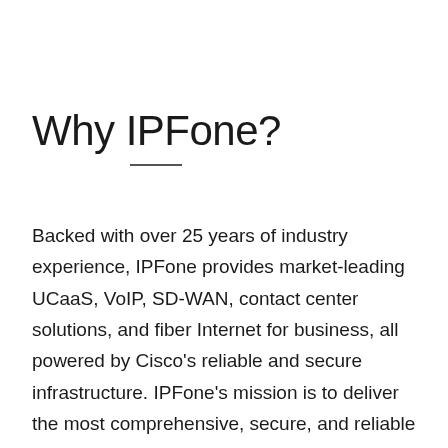Why IPFone?
Backed with over 25 years of industry experience, IPFone provides market-leading UCaaS, VoIP, SD-WAN, contact center solutions, and fiber Internet for business, all powered by Cisco's reliable and secure infrastructure. IPFone's mission is to deliver the most comprehensive, secure, and reliable communications and